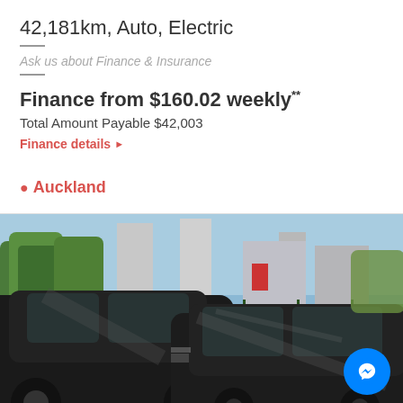42,181km, Auto, Electric
Ask us about Finance & Insurance
Finance from $160.02 weekly**
Total Amount Payable $42,003
Finance details ▶
📍 Auckland
[Figure (photo): Photo of two dark/black cars parked in a lot with trees and buildings in background, blue sky visible, green metal fence behind cars]